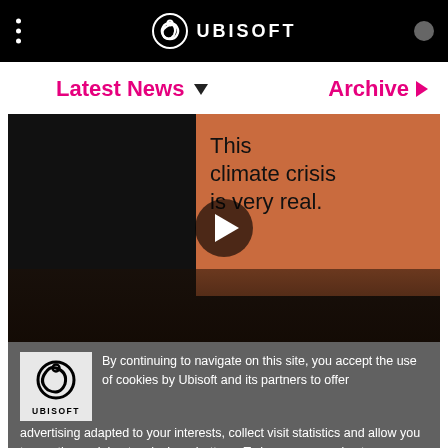UBISOFT
Latest News
Archive
[Figure (screenshot): Video thumbnail showing text 'This climate crisis is very real.' on an orange panel with a play button, dark smoky background]
By continuing to navigate on this site, you accept the use of cookies by Ubisoft and its partners to offer advertising adapted to your interests, collect visit statistics and allow you to use the social network share buttons. To learn more and set your cookies.
Bringing Climate Change Close to Home